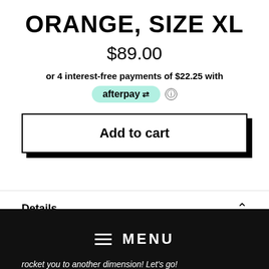ORANGE, SIZE XL
$89.00
or 4 interest-free payments of $22.25 with afterpay
[Figure (logo): Afterpay logo badge in mint green rounded pill shape]
Add to cart
Details
[Figure (screenshot): Black menu bar with hamburger icon and MENU text]
rocket you to another dimension! Let's go!